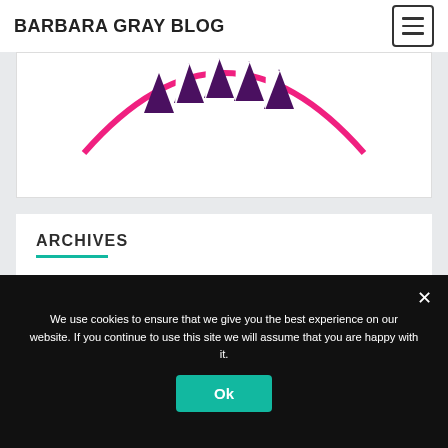BARBARA GRAY BLOG
[Figure (illustration): Partial view of a decorative logo or banner with a pink arc/circle outline and dark purple triangular bunting shapes hanging inside the arc, on a white background.]
ARCHIVES
August 2022
July 2022
We use cookies to ensure that we give you the best experience on our website. If you continue to use this site we will assume that you are happy with it.